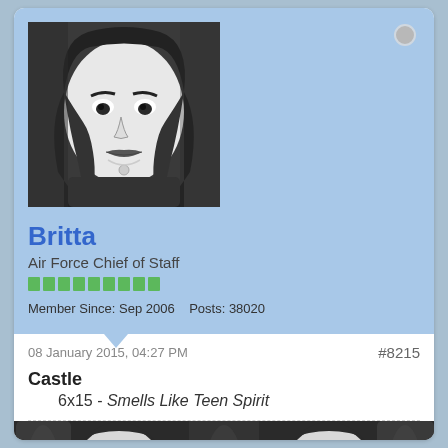[Figure (illustration): Avatar portrait of a woman with dark hair, drawn in black and white comic/illustration style]
Britta
Air Force Chief of Staff
Member Since: Sep 2006   Posts: 38020
08 January 2015, 04:27 PM
#8215
Castle
6x15 - Smells Like Teen Spirit
[Figure (illustration): Two side-by-side black and white comic-style illustrations of a woman with dark hair looking surprised or concerned]